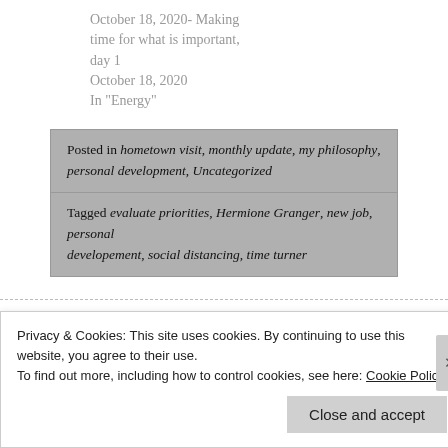October 18, 2020- Making time for what is important, day 1
October 18, 2020
In "Energy"
Posted in hometown visit, monthly update, my philosophy, personal development, Uncategorized
Tagged evaluate priorities, Hermione Granger, new job, personal developement, social distancing, time turner
Leave a Reply
Privacy & Cookies: This site uses cookies. By continuing to use this website, you agree to their use.
To find out more, including how to control cookies, see here: Cookie Policy